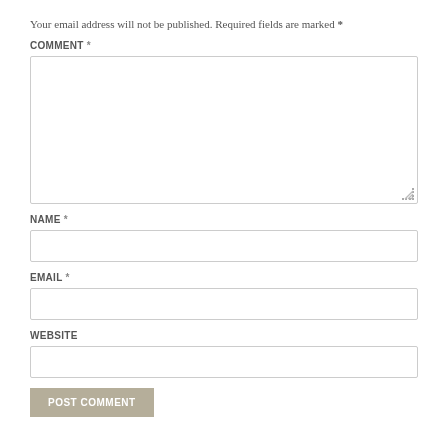Your email address will not be published. Required fields are marked *
COMMENT *
[Figure (other): Large textarea input box for comment with resize handle]
NAME *
[Figure (other): Single-line text input box for name]
EMAIL *
[Figure (other): Single-line text input box for email]
WEBSITE
[Figure (other): Single-line text input box for website]
POST COMMENT